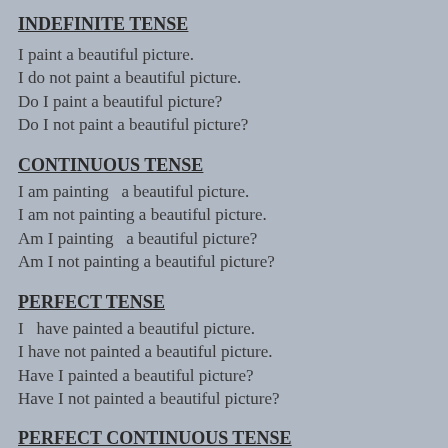INDEFINITE TENSE
I paint a beautiful picture.
I do not paint a beautiful picture.
Do I paint a beautiful picture?
Do I not paint a beautiful picture?
CONTINUOUS TENSE
I am painting  a beautiful picture.
I am not painting a beautiful picture.
Am I painting  a beautiful picture?
Am I not painting a beautiful picture?
PERFECT TENSE
I  have painted a beautiful picture.
I have not painted a beautiful picture.
Have I painted a beautiful picture?
Have I not painted a beautiful picture?
PERFECT CONTINUOUS TENSE
I have been painting  a beautiful picture since morning.
I have not been painting a beautiful picture since morning.